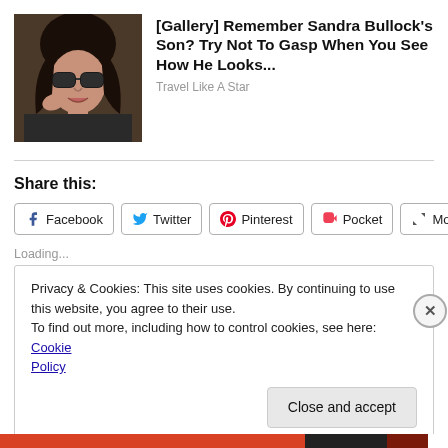[Figure (photo): Photo of a woman with dark sunglasses and brown hair]
[Gallery] Remember Sandra Bullock's Son? Try Not To Gasp When You See How He Looks...
Travel Like A Star
Share this:
Facebook  Twitter  Pinterest  Pocket  More
Loading...
Privacy & Cookies: This site uses cookies. By continuing to use this website, you agree to their use.
To find out more, including how to control cookies, see here: Cookie Policy
Close and accept